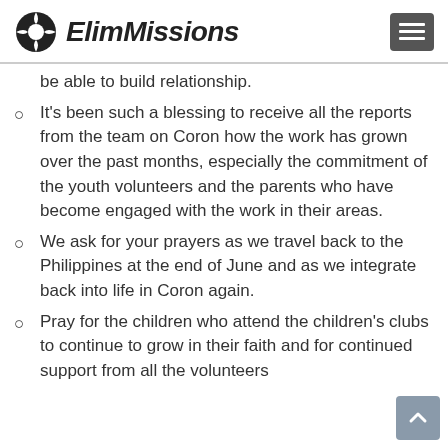ElimMissions
be able to build relationship.
It's been such a blessing to receive all the reports from the team on Coron how the work has grown over the past months, especially the commitment of the youth volunteers and the parents who have become engaged with the work in their areas.
We ask for your prayers as we travel back to the Philippines at the end of June and as we integrate back into life in Coron again.
Pray for the children who attend the children's clubs to continue to grow in their faith and for continued support from all the volunteers